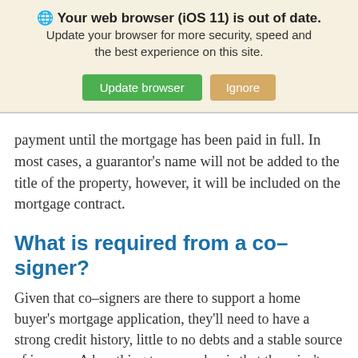[Figure (screenshot): Browser update banner with globe icon, title 'Your web browser (iOS 11) is out of date.', subtitle text, and two buttons: 'Update browser' (green) and 'Ignore' (tan/orange).]
payment until the mortgage has been paid in full. In most cases, a guarantor's name will not be added to the title of the property, however, it will be included on the mortgage contract.
What is required from a co–signer?
Given that co–signers are there to support a home buyer's mortgage application, they'll need to have a strong credit history, little to no debts and a stable source of income. A key thing to remember is that there isn't much of a difference between a co–signer and a co–borrower, as the responsibilities are the same. In the eyes of